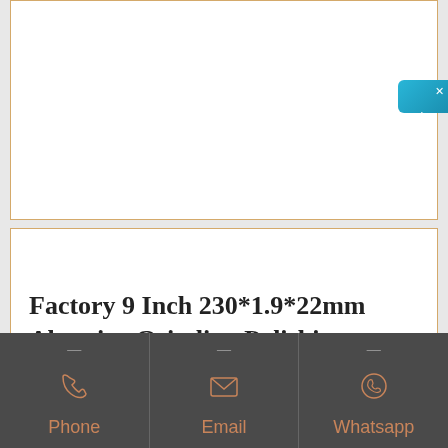[Figure (other): Empty white product image card with tan/gold border at top of page]
Factory 9 Inch 230*1.9*22mm Abrasive Grinding Polishing
[Figure (infographic): Dark grey footer bar with three contact options: Phone (phone icon), Email (envelope icon), Whatsapp (WhatsApp icon), separated by vertical dividers]
[Figure (other): Blue online chat button on right edge with Chinese text 在线咨询 (online consultation) and an X close button]